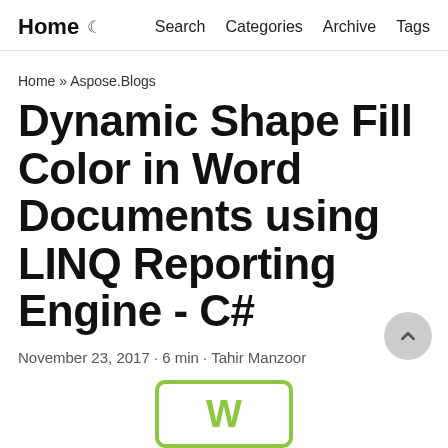Home  Search  Categories  Archive  Tags
Home » Aspose.Blogs
Dynamic Shape Fill Color in Word Documents using LINQ Reporting Engine - C#
November 23, 2017 · 6 min · Tahir Manzoor
[Figure (logo): Word document logo with green border and green W letter]